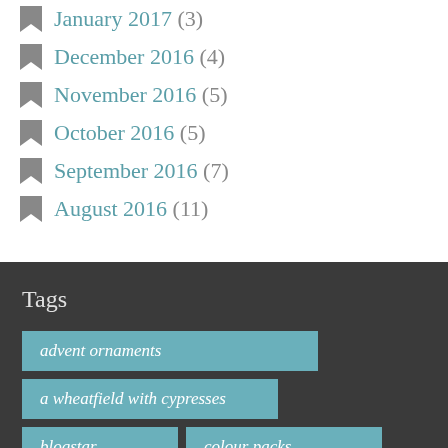January 2017 (3)
December 2016 (4)
November 2016 (5)
October 2016 (5)
September 2016 (7)
August 2016 (11)
Tags
advent ornaments
a wheatfield with cypresses
blogstar
colour packs
Demelza blanket